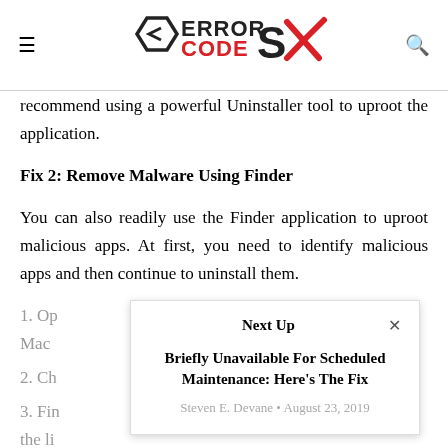ERROR CODE SX
recommend using a powerful Uninstaller tool to uproot the application.
Fix 2: Remove Malware Using Finder
You can also readily use the Finder application to uproot malicious apps. At first, you need to identify malicious apps and then continue to uninstall them.
1. Op... Mac...
2. Ch...
3. Fin... the li...
[Figure (screenshot): Popup overlay titled 'Next Up' with article link 'Briefly Unavailable For Scheduled Maintenance: Here's The Fix' by Steven E. Devane, August 23, 2019]